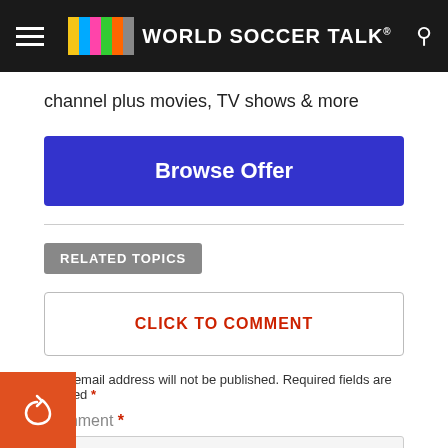World Soccer Talk
channel plus movies, TV shows & more
Browse Offer
RELATED TOPICS
CLICK TO COMMENT
Your email address will not be published. Required fields are marked *
Comment *